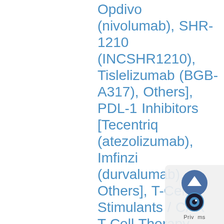Opdivo (nivolumab), SHR-1210 (INCSHR1210), Tislelizumab (BGB-A317), Others], PDL-1 Inhibitors [Tecentriq (atezolizumab), Imfinzi (durvalumab), Others], T-Cell Stimulants / CAR T-Cell Therapy [Yescarta (axicabtagene ciloleucel), Kymriah (tisagenlecleucel), Ide-cel (Idecabtagene vicleucel), Others], CTLA Antibody [Yervoy (ipilimumab), Others], T-Cell Surface Glycoprotein CD4 Antibody], Application (Lung Cancer, Breast Cancer, Colorectal Cancer, Melanoma, Prostate Cancer, Head and Neck Cancer, Ovarian Cancer, Pancreatic Cancer), Pipeline Analysis and Forecast 2021-2027